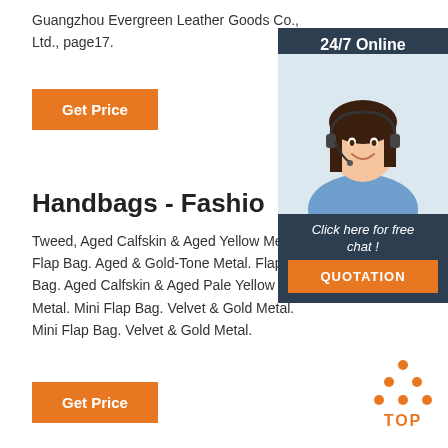Guangzhou Evergreen Leather Goods Co., Ltd., page17.
Get Price
[Figure (photo): Customer service representative wearing headset, smiling, with '24/7 Online' label and 'Click here for free chat!' overlay and QUOTATION button]
Handbags - Fashio...
Tweed, Aged Calfskin & Aged Yellow Metal. Flap Bag. Aged & Gold-Tone Metal. Flap Bag. Aged Calfskin & Aged Pale Yellow Metal. Mini Flap Bag. Velvet & Gold Metal. Mini Flap Bag. Velvet & Gold Metal.
Get Price